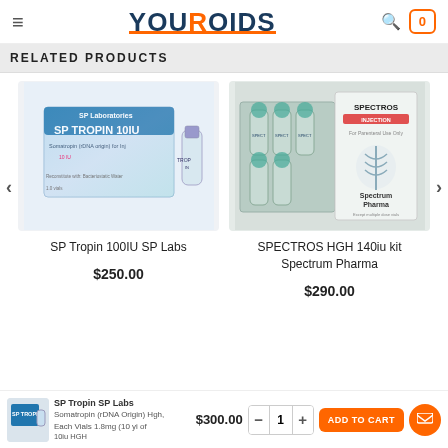YOUROIDS
RELATED PRODUCTS
[Figure (photo): SP Tropin 10IU SP Labs product box and vial]
SP Tropin 100IU SP Labs
$250.00
[Figure (photo): SPECTROS HGH 140iu kit Spectrum Pharma vials and box]
SPECTROS HGH 140iu kit Spectrum Pharma
$290.00
SP Tropin SP Labs $300.00 1 ADD TO CART